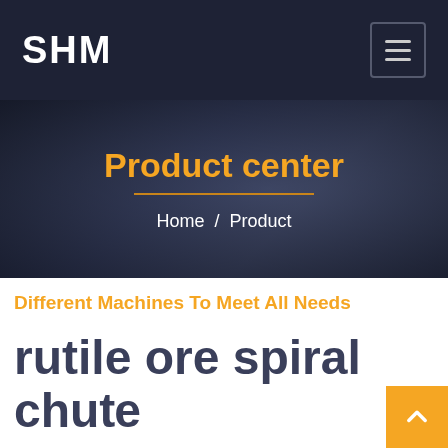SHM
Product center
Home / Product
Different Machines To Meet All Needs
rutile ore spiral chute for rutile